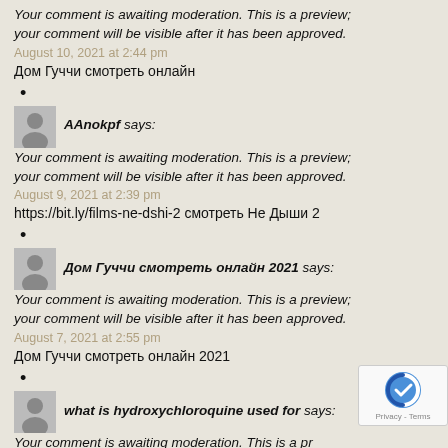Your comment is awaiting moderation. This is a preview; your comment will be visible after it has been approved.
August 10, 2021 at 2:44 pm
Дом Гуччи смотреть онлайн
•
AAnokpf says:
Your comment is awaiting moderation. This is a preview; your comment will be visible after it has been approved.
August 9, 2021 at 2:39 pm
https://bit.ly/films-ne-dshi-2 смотреть Не Дыши 2
•
Дом Гуччи смотреть онлайн 2021 says:
Your comment is awaiting moderation. This is a preview; your comment will be visible after it has been approved.
August 7, 2021 at 2:55 pm
Дом Гуччи смотреть онлайн 2021
•
what is hydroxychloroquine used for says:
Your comment is awaiting moderation. This is a preview; your comment will be visible after it has been approved.